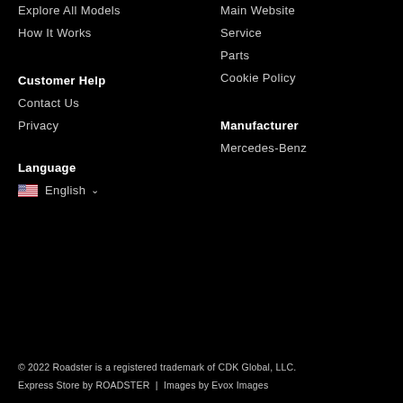Explore All Models
How It Works
Main Website
Service
Parts
Cookie Policy
Customer Help
Contact Us
Privacy
Manufacturer
Mercedes-Benz
Language
English
© 2022 Roadster is a registered trademark of CDK Global, LLC.
Express Store by ROADSTER  |  Images by Evox Images